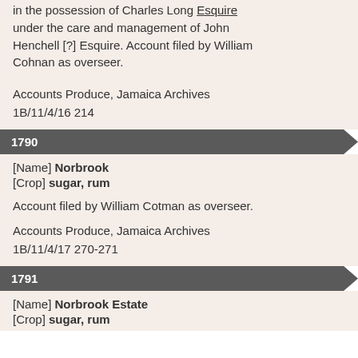in the possession of Charles Long Esquire under the care and management of John Henchell [?] Esquire. Account filed by William Cohnan as overseer.
Accounts Produce, Jamaica Archives 1B/11/4/16 214
1790
[Name] Norbrook
[Crop] sugar, rum
Account filed by William Cotman as overseer.
Accounts Produce, Jamaica Archives 1B/11/4/17 270-271
1791
[Name] Norbrook Estate
[Crop] sugar, rum